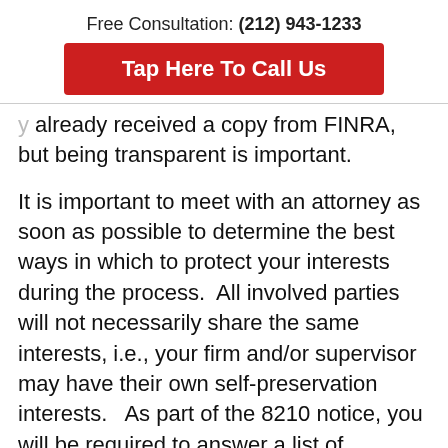Free Consultation: (212) 943-1233
Tap Here To Call Us
already received a copy from FINRA, but being transparent is important.
It is important to meet with an attorney as soon as possible to determine the best ways in which to protect your interests during the process.  All involved parties will not necessarily share the same interests, i.e., your firm and/or supervisor may have their own self-preservation interests.   As part of the 8210 notice, you will be required to answer a list of questions (interrogatories) and produce sometimes a wide range of documents, both